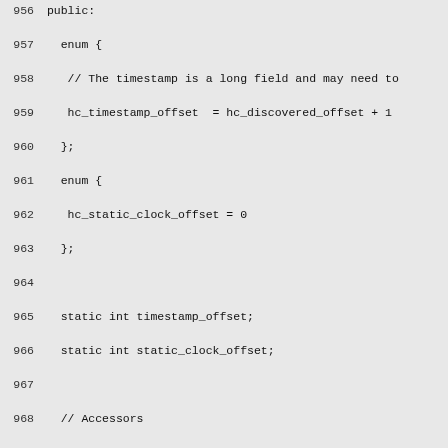Code listing lines 956–985 showing C++ class definitions for java_lang_invoke_MethodHandle and related enums and static members.